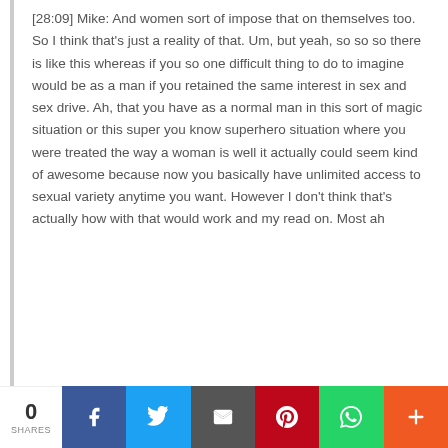[28:09] Mike: And women sort of impose that on themselves too. So I think that's just a reality of that. Um, but yeah, so so so there is like this whereas if you so one difficult thing to do to imagine would be as a man if you retained the same interest in sex and sex drive. Ah, that you have as a normal man in this sort of magic situation or this super you know superhero situation where you were treated the way a woman is well it actually could seem kind of awesome because now you basically have unlimited access to sexual variety anytime you want. However I don't think that's actually how with that would work and my read on. Most ah
0 SHARES | Facebook | Twitter | Email | Pinterest | WhatsApp | More